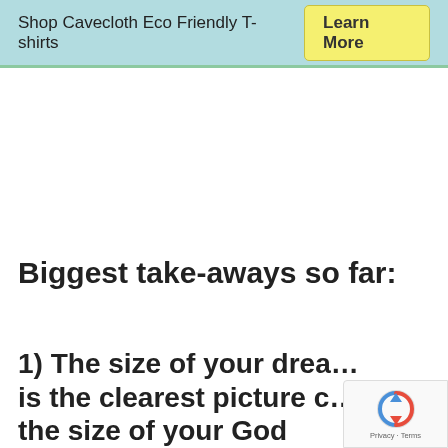Shop Cavecloth Eco Friendly T-shirts   Learn More
Biggest take-aways so far:
1) The size of your dream is the clearest picture of the size of your God